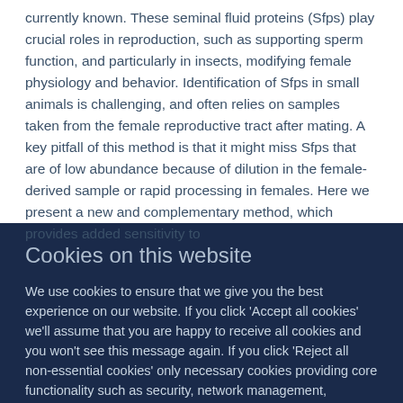currently known. These seminal fluid proteins (Sfps) play crucial roles in reproduction, such as supporting sperm function, and particularly in insects, modifying female physiology and behavior. Identification of Sfps in small animals is challenging, and often relies on samples taken from the female reproductive tract after mating. A key pitfall of this method is that it might miss Sfps that are of low abundance because of dilution in the female-derived sample or rapid processing in females. Here we present a new and complementary method, which provides added sensitivity to
Cookies on this website
We use cookies to ensure that we give you the best experience on our website. If you click 'Accept all cookies' we'll assume that you are happy to receive all cookies and you won't see this message again. If you click 'Reject all non-essential cookies' only necessary cookies providing core functionality such as security, network management,